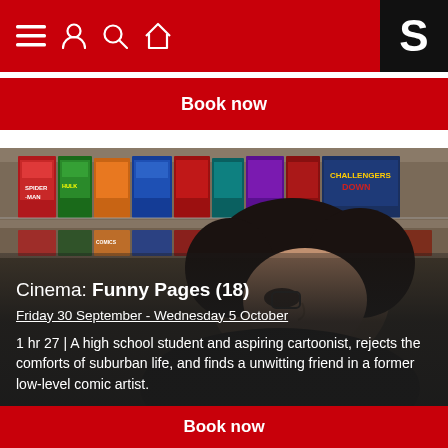Navigation bar with menu, account, search, home icons and S logo
Book now
[Figure (photo): A young person with dark curly hair looking up, standing in front of comic book shelves with various Marvel-style comic covers visible in the background. Semi-dark cinematic photo.]
Cinema: Funny Pages (18)
Friday 30 September - Wednesday 5 October
1 hr 27 | A high school student and aspiring cartoonist, rejects the comforts of suburban life, and finds a unwitting friend in a former low-level comic artist.
Book now